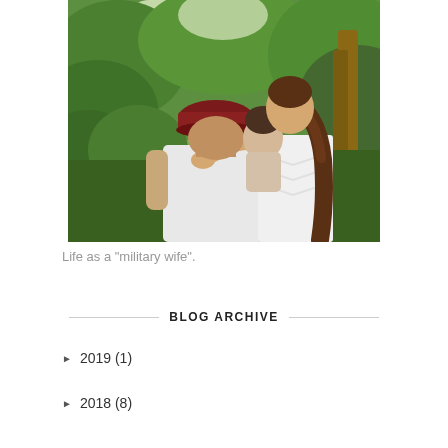[Figure (photo): A family photo viewed from behind: a man wearing a dark red baseball cap and white t-shirt holds a young child, while a woman with long brown hair wearing a white sleeveless top stands beside him. They are surrounded by lush green trees and vegetation.]
Life as a "military wife".
BLOG ARCHIVE
► 2019 (1)
► 2018 (8)